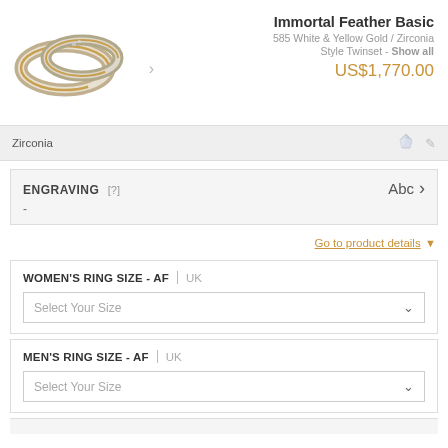[Figure (photo): Two wedding rings, white and yellow gold band with zirconia stones]
Immortal Feather Basic
585 White & Yellow Gold / Zirconia
Style Twinset - Show all
US$1,770.00
Zirconia
ENGRAVING [?]
-
Abc >
Go to product details ▼
WOMEN'S RING SIZE - AF | UK
Select Your Size
MEN'S RING SIZE - AF | UK
Select Your Size